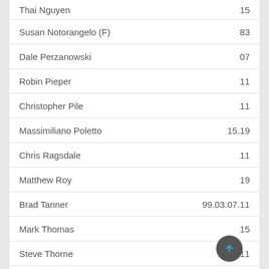Thai Nguyen — 15
Susan Notorangelo (F) — 83
Dale Perzanowski — 07
Robin Pieper — 11
Christopher Pile — 11
Massimiliano Poletto — 15.19
Chris Ragsdale — 11
Matthew Roy — 19
Brad Tanner — 99.03.07.11
Mark Thomas — 15
Steve Thorne — 11
Bryce Walsh — 11
Keith Wells — 95